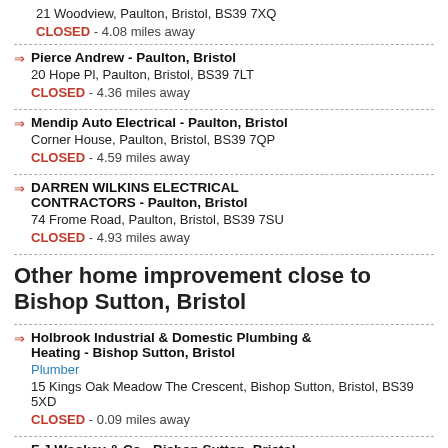21 Woodview, Paulton, Bristol, BS39 7XQ
CLOSED - 4.08 miles away
Pierce Andrew - Paulton, Bristol
20 Hope Pl, Paulton, Bristol, BS39 7LT
CLOSED - 4.36 miles away
Mendip Auto Electrical - Paulton, Bristol
Corner House, Paulton, Bristol, BS39 7QP
CLOSED - 4.59 miles away
DARREN WILKINS ELECTRICAL CONTRACTORS - Paulton, Bristol
74 Frome Road, Paulton, Bristol, BS39 7SU
CLOSED - 4.93 miles away
Other home improvement close to Bishop Sutton, Bristol
Holbrook Industrial & Domestic Plumbing & Heating - Bishop Sutton, Bristol
Plumber
15 Kings Oak Meadow The Crescent, Bishop Sutton, Bristol, BS39 5XD
CLOSED - 0.09 miles away
F J Wookey & Co - Bishop Sutton, Bristol
Builder